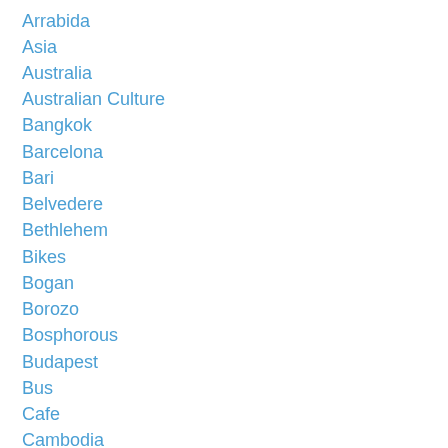Arrabida
Asia
Australia
Australian Culture
Bangkok
Barcelona
Bari
Belvedere
Bethlehem
Bikes
Bogan
Borozo
Bosphorous
Budapest
Bus
Cafe
Cambodia
Camel
Cascades D'Ouzoud
Cascais